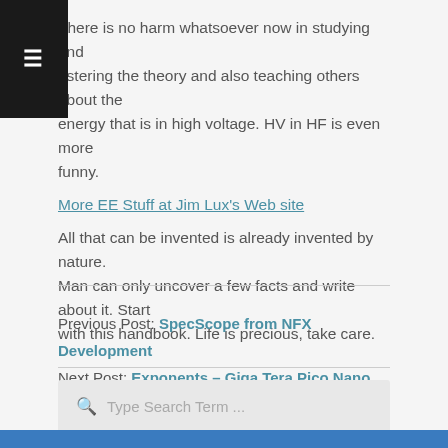There is no harm whatsoever now in studying and mastering the theory and also teaching others about the energy that is in high voltage. HV in HF is even more funny.
More EE Stuff at Jim Lux's Web site
All that can be invented is already invented by nature. Man can only uncover a few facts and write about it. Start with this handbook. Life is precious, take care.
Previous Post: SpecScope from NFX Development
Next Post: Exponents – Giga Tera Pico Nano
Type Search Term ...